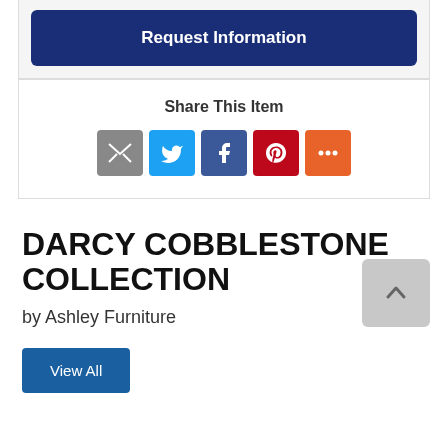Request Information
Share This Item
[Figure (other): Social share icons: email (grey), Twitter (blue), Facebook (dark blue), Pinterest (red), More (orange)]
DARCY COBBLESTONE COLLECTION
by Ashley Furniture
View All